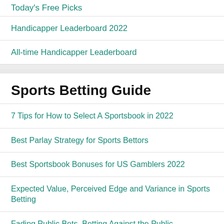Today's Free Picks
Handicapper Leaderboard 2022
All-time Handicapper Leaderboard
Sports Betting Guide
7 Tips for How to Select A Sportsbook in 2022
Best Parlay Strategy for Sports Bettors
Best Sportsbook Bonuses for US Gamblers 2022
Expected Value, Perceived Edge and Variance in Sports Betting
Fading Public Bets, Betting Against the Public
Handicapping College Football 101
How to Bet NFL Preseason – Betting Strategy & Tips